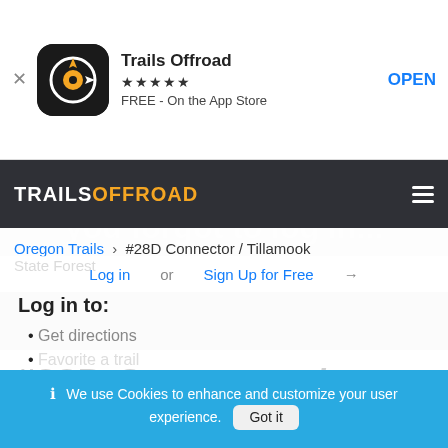[Figure (screenshot): App Store banner showing Trails Offroad app with icon, 5 stars, FREE label, and OPEN button]
[Figure (screenshot): Trails Offroad website screenshot showing nav bar with logo, login overlay with breadcrumb Oregon Trails > #28D Connector / Tillamook State Forest, login panel with 'Log in to:' heading, bullet items, trail title '#28D Connector / Tillamook State Forest', location 'Tillamook, Oregon (Tillamook County)', and cookie consent banner]
Trails Offroad
★★★★★
FREE - On the App Store
OPEN
TRAILS OFFROAD
Whoops! It looks like you forgot to log in...
Oregon Trails > #28D Connector / Tillamook State Forest
Log in to:
Get directions
Favorite a trail
Add a trail review
#28D Connector / Tillamook State Forest
Tillamook, Oregon (Tillamook County)
We use Cookies to enhance and customize your user experience.
Got it